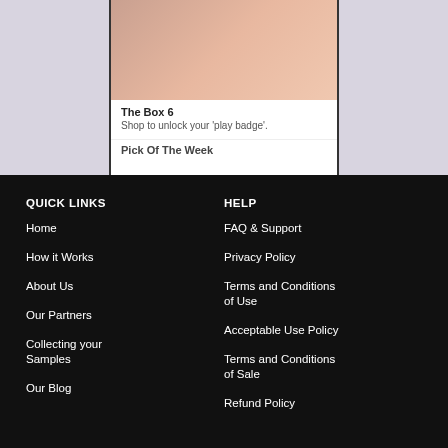[Figure (screenshot): Mobile app screenshot showing a product card with image, title 'The Box 6' and subtitle 'Shop to unlock your play badge', with partial text 'Pick Of The Week' below]
QUICK LINKS
HELP
Home
FAQ & Support
How it Works
Privacy Policy
About Us
Terms and Conditions of Use
Our Partners
Acceptable Use Policy
Collecting your Samples
Terms and Conditions of Sale
Our Blog
Refund Policy